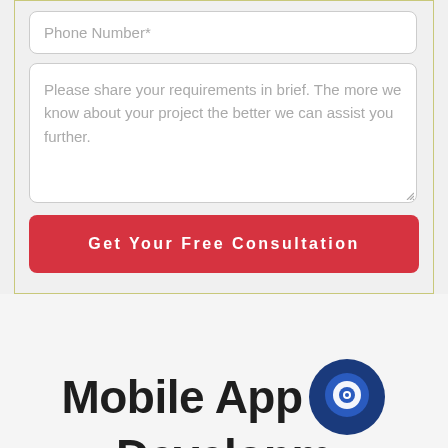Phone Number*
Please share your requirements in brief. The more we know about your project the better we can assist you further.
Get Your Free Consultation
Mobile App Development